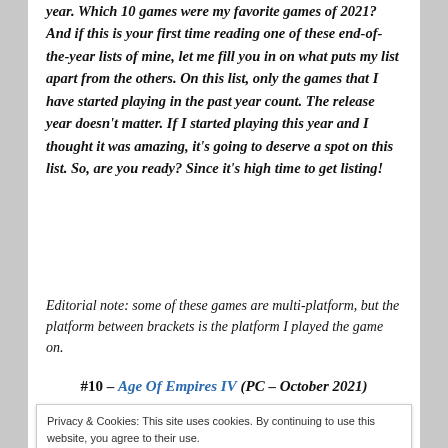year. Which 10 games were my favorite games of 2021? And if this is your first time reading one of these end-of-the-year lists of mine, let me fill you in on what puts my list apart from the others. On this list, only the games that I have started playing in the past year count. The release year doesn't matter. If I started playing this year and I thought it was amazing, it's going to deserve a spot on this list. So, are you ready? Since it's high time to get listing!
Editorial note: some of these games are multi-platform, but the platform between brackets is the platform I played the game on.
#10 – Age Of Empires IV (PC – October 2021)
Privacy & Cookies: This site uses cookies. By continuing to use this website, you agree to their use.
To find out more, including how to control cookies, see here: Cookie Policy
Close and accept